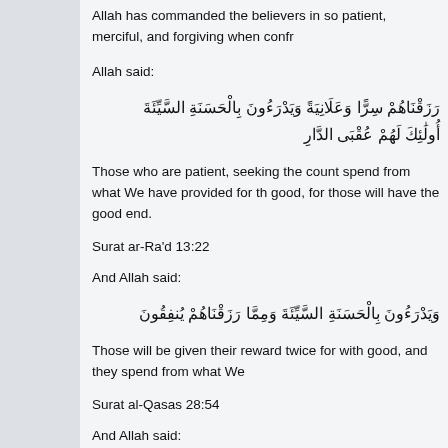Allah has commanded the believers in so patient, merciful, and forgiving when confronted
Allah said:
رَزَقْنَاهُمْ سِرًّا وَعَلَانِيَةً وَيَدْرَءُونَ بِالْحَسَنَةِ السَّيِّئَةَ أُولَٰئِكَ لَهُمْ عُقْبَى الدَّارِ
Those who are patient, seeking the countenance of their Lord, and establish prayer and spend from what We have provided for them secretly and publicly and prevent evil with good, for those will have the good end.
Surat ar-Ra'd 13:22
And Allah said:
وَيَدْرَءُونَ بِالْحَسَنَةِ السَّيِّئَةَ وَمِمَّا رَزَقْنَاهُمْ يُنفِقُونَ
Those will be given their reward twice for what they patiently endured and they repel evil with good, and they spend from what We
Surat al-Qasas 28:54
And Allah said:
نَرِيعُ بِالَّتِي هِيَ أَحْسَنُ السَّيِّئَةَ نَحْنُ أَعْلَمُ بِمَا يَصِفُونَ